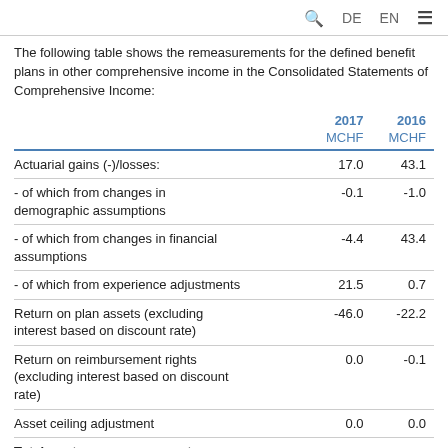🔍  DE  EN  ≡
The following table shows the remeasurements for the defined benefit plans in other comprehensive income in the Consolidated Statements of Comprehensive Income:
|  | 2017
MCHF | 2016
MCHF |
| --- | --- | --- |
| Actuarial gains (-)/losses: | 17.0 | 43.1 |
| - of which from changes in demographic assumptions | -0.1 | -1.0 |
| - of which from changes in financial assumptions | -4.4 | 43.4 |
| - of which from experience adjustments | 21.5 | 0.7 |
| Return on plan assets (excluding interest based on discount rate) | -46.0 | -22.2 |
| Return on reimbursement rights (excluding interest based on discount rate) | 0.0 | -0.1 |
| Asset ceiling adjustment | 0.0 | 0.0 |
| Total pre-tax remeasurements |  |  |